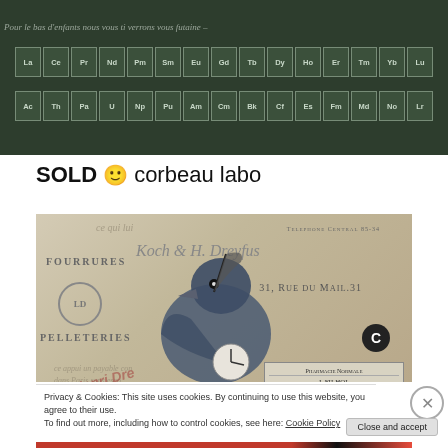[Figure (photo): Composite artwork photo showing a periodic table on dark green background with handwritten script text above it. Lanthanide and actinide rows visible: La Ce Pr Nd Pm Sm Eu Gd Tb Dy Ho Er Tm Yb Lu / Ac Th Pa U Np Pu Am Cm Bk Cf Es Fm Md No Lr]
SOLD 🙂 corbeau labo
[Figure (photo): Artwork of a crow/raven collage on antique French paper documents. Text visible includes: FOURRURES, PELLETERIES, TELEPHONE CENTRAL 85-34, 31 RUE DU MAIL 31, PHARMACIE NORMALE J. FILHOL P. ORLIAC GARGARISME, Henri Dreyfus stamp, logo circle, C badge. The crow holds a large feather/quill.]
Privacy & Cookies: This site uses cookies. By continuing to use this website, you agree to their use.
To find out more, including how to control cookies, see here: Cookie Policy
Close and accept